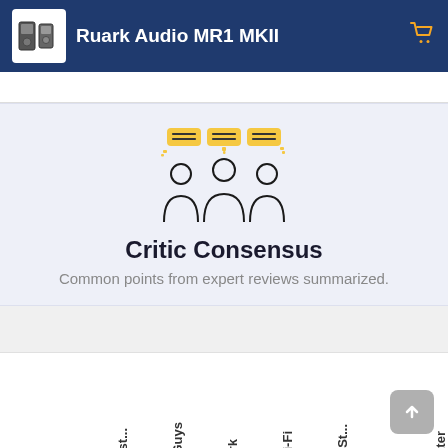Ruark Audio MR1 MKII
Critic Consensus
Common points from expert reviews summarized.
| The Mast... | SoundGuys | Pitchfork | What Hi-Fi | Rolling St... | T3 | Wirecutter |
| --- | --- | --- | --- | --- | --- | --- |